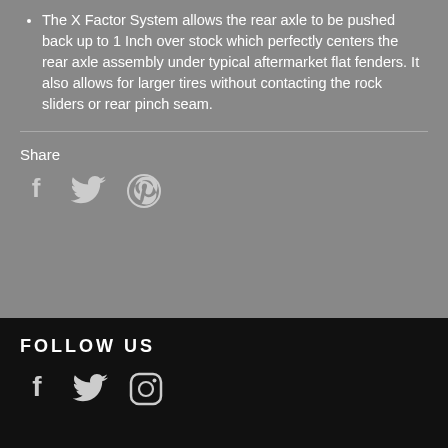The X Factor System allows the rear axle to be pushed back up to 1 Inch over stock which perfectly centers the rear axle assembly under typical aftermarket flat fenders. It also allows for larger tires without contacting the rock sliders or rear pinch seam.
Share
[Figure (infographic): Share social icons: Facebook, Twitter, Pinterest]
FOLLOW US
[Figure (infographic): Follow us social icons: Facebook, Twitter, Instagram]